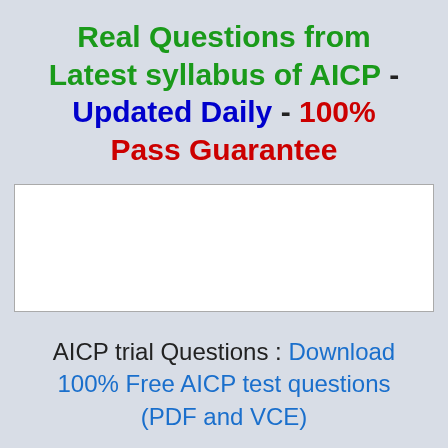Real Questions from Latest syllabus of AICP - Updated Daily - 100% Pass Guarantee
[Figure (other): White rectangle box with a light gray border, appearing as a blank content area placeholder.]
AICP trial Questions : Download 100% Free AICP test questions (PDF and VCE)